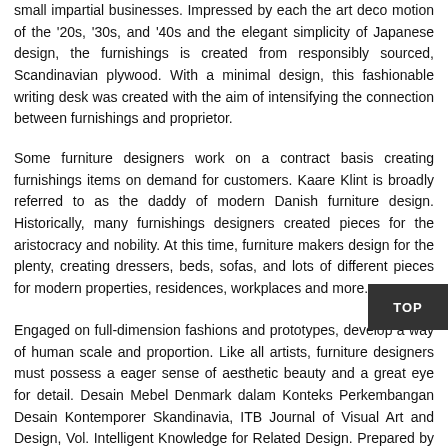small impartial businesses. Impressed by each the art deco motion of the '20s, '30s, and '40s and the elegant simplicity of Japanese design, the furnishings is created from responsibly sourced, Scandinavian plywood. With a minimal design, this fashionable writing desk was created with the aim of intensifying the connection between furnishings and proprietor.
Some furniture designers work on a contract basis creating furnishings items on demand for customers. Kaare Klint is broadly referred to as the daddy of modern Danish furniture design. Historically, many furnishings designers created pieces for the aristocracy and nobility. At this time, furniture makers design for the plenty, creating dressers, beds, sofas, and lots of different pieces for modern properties, residences, workplaces and more.
Engaged on full-dimension fashions and prototypes, develop a way of human scale and proportion. Like all artists, furniture designers must possess a eager sense of aesthetic beauty and a great eye for detail. Desain Mebel Denmark dalam Konteks Perkembangan Desain Kontemporer Skandinavia, ITB Journal of Visual Art and Design, Vol. Intelligent Knowledge for Related Design. Prepared by CEDIA E...